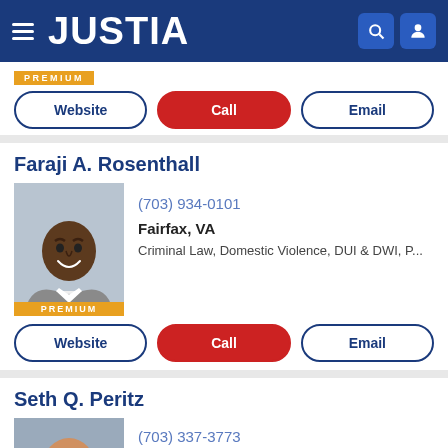JUSTIA
PREMIUM
Website | Call | Email
Faraji A. Rosenthall
[Figure (photo): Professional headshot of Faraji A. Rosenthall, a man in a grey suit, smiling, with a PREMIUM badge]
(703) 934-0101
Fairfax, VA
Criminal Law, Domestic Violence, DUI & DWI, P...
Website | Call | Email
Seth Q. Peritz
[Figure (photo): Professional headshot of Seth Q. Peritz, a man with a beard in a dark suit]
(703) 337-3773
Fairfax, VA
Criminal Law, DUI & DWI, Juvenile Law, Traffic...